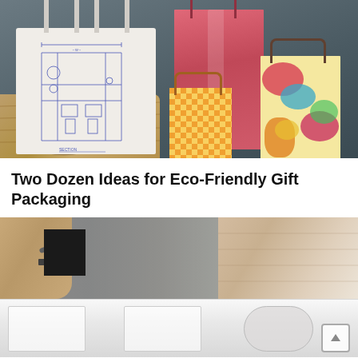[Figure (photo): Photograph of eco-friendly gift packaging items: a white tote bag printed with a technical blueprint diagram, a tall pink gift bag, a small orange/yellow checkered gift bag with rope handles, a colorful patterned gift bag, and a wooden block — all arranged on a dark surface.]
Two Dozen Ideas for Eco-Friendly Gift Packaging
[Figure (photo): Photograph showing a hand holding a paintbrush painting a black square on what appears to be cardboard packaging material.]
[Figure (photo): Partially visible strip photograph showing light-colored box shapes, possibly packaged items, with a scroll-to-top arrow button overlay in the bottom right corner.]